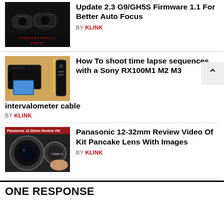[Figure (photo): Thumbnail image of Panasonic cameras with text overlay 'XTDFOCUS FINALLY FIXED?' in red]
Panasonic GH5 Firmware Update 2.3 G9/GH5S Firmware 1.1 For Better Auto Focus
BY KLINK
[Figure (photo): Thumbnail image of a Sony camera with intervalometer cable on a wooden surface]
How To shoot time lapse sequences with a Sony RX100M1 M2 M3 intervalometer cable
BY KLINK
[Figure (photo): Thumbnail of Panasonic 12-32mm lens review video showing lens and lens cap]
Panasonic 12-32mm Review Video Of Kit Pancake Lens With Images
BY KLINK
ONE RESPONSE